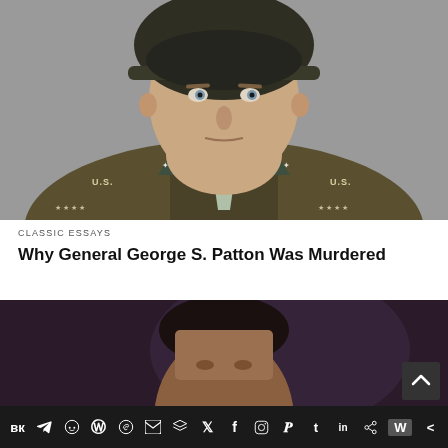[Figure (photo): Close-up colorized portrait photo of General George S. Patton wearing a military helmet and olive green uniform with 'U.S.' insignia on the collar and four-star rank visible on epaulettes]
CLASSIC ESSAYS
Why General George S. Patton Was Murdered
[Figure (photo): Dark portrait photograph of a man, partially visible, appearing to be another article's lead image]
Social sharing toolbar with icons for VK, Telegram, Reddit, WordPress, WhatsApp, Email, Layers, Twitter, Facebook, Instagram, Pinterest, Tumblr, LinkedIn, Share, Webtoons, Share